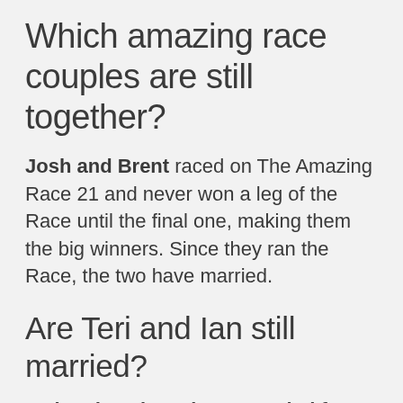Which amazing race couples are still together?
Josh and Brent raced on The Amazing Race 21 and never won a leg of the Race until the final one, making them the big winners. Since they ran the Race, the two have married.
Are Teri and Ian still married?
Teri and Ian have been married for 21